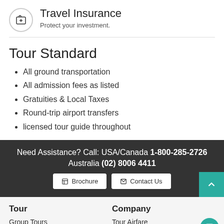Travel Insurance
Protect your investment.
Tour Standard
All ground transportation
All admission fees as listed
Gratuities & Local Taxes
Round-trip airport transfers
licensed tour guide throughout
Need Assistance? Call: USA/Canada 1-800-285-2726 Australia (02) 8006 4411
Contact Us
Brochure
Tour | Company | Group Tours | Private Tours | Tour Airfare | Japan Visa